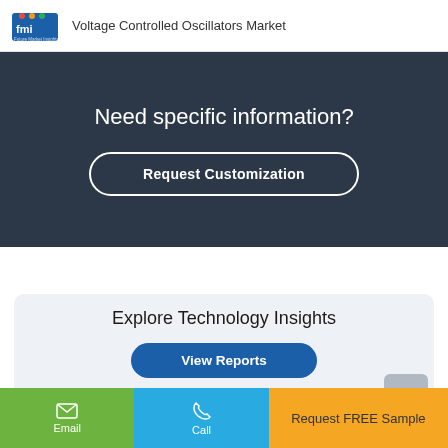Voltage Controlled Oscillators Market
Need specific information?
Request Customization
Explore Technology Insights
View Reports
Request FREE Sample
Email
Call